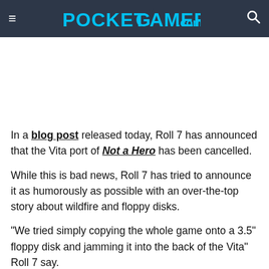≡ POCKETGAMER.com 🔍
In a blog post released today, Roll 7 has announced that the Vita port of Not a Hero has been cancelled.
While this is bad news, Roll 7 has tried to announce it as humorously as possible with an over-the-top story about wildfire and floppy disks.
"We tried simply copying the whole game onto a 3.5" floppy disk and jamming it into the back of the Vita" Roll 7 say.